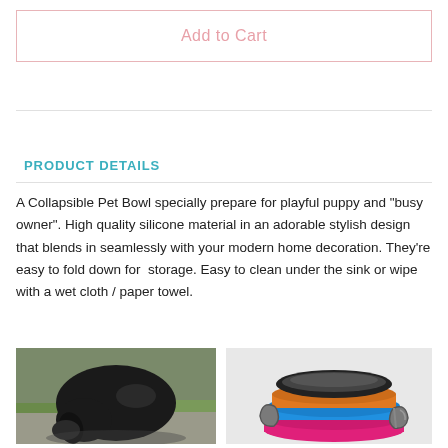Add to Cart
PRODUCT DETAILS
A Collapsible Pet Bowl specially prepare for playful puppy and “busy owner”. High quality silicone material in an adorable stylish design that blends in seamlessly with your modern home decoration. They’re easy to fold down for storage. Easy to clean under the sink or wipe with a wet cloth / paper towel.
[Figure (photo): Photo of a black dog outdoors on grass/pavement]
[Figure (photo): Photo of colorful collapsible silicone pet bowls stacked with a carabiner clip]